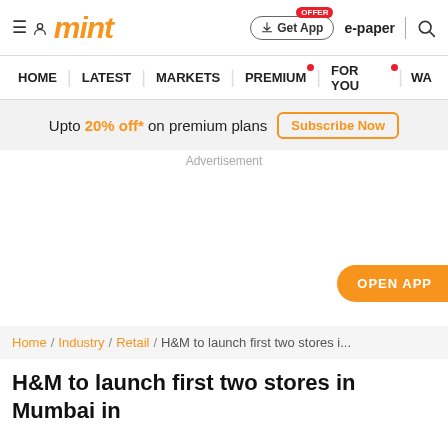mint | Get App | e-paper | search
HOME | LATEST | MARKETS | PREMIUM | FOR YOU | WA
Upto 20% off* on premium plans  Subscribe Now
Advertisement
OPEN APP
Home / Industry / Retail / H&M to launch first two stores i...
H&M to launch first two stores in Mumbai in